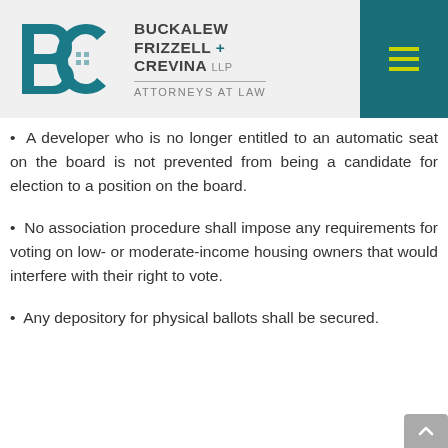[Figure (logo): Buckalew Frizzell + Crevina LLP Attorneys at Law law firm logo with BFC monogram in teal]
A developer who is no longer entitled to an automatic seat on the board is not prevented from being a candidate for election to a position on the board.
No association procedure shall impose any requirements for voting on low- or moderate-income housing owners that would interfere with their right to vote.
Any depository for physical ballots shall be secured.